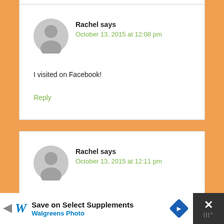Rachel says
October 13, 2015 at 12:08 pm

I visited on Facebook!

Reply
Rachel says
October 13, 2015 at 12:11 pm

Pinned this!
[Figure (infographic): Walgreens Photo advertisement banner: Save on Select Supplements — Walgreens Photo logo with blue cursive W, navigation arrow icon, blue direction sign icon, close X button]